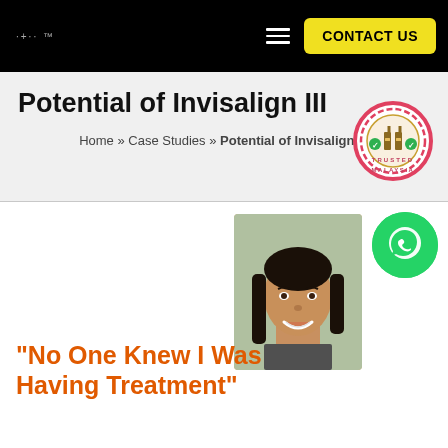CONTACT US
Potential of Invisalign III
Home » Case Studies » Potential of Invisalign III
[Figure (logo): Trusted Malaysia badge/seal logo]
[Figure (photo): Portrait photo of a smiling young woman with long dark hair]
[Figure (logo): WhatsApp green circle button icon]
"No One Knew I Was Having Treatment"